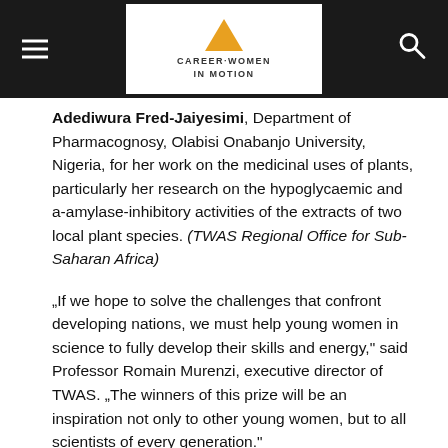Career Women in Motion
Adediwura Fred-Jaiyesimi, Department of Pharmacognosy, Olabisi Onabanjo University, Nigeria, for her work on the medicinal uses of plants, particularly her research on the hypoglycaemic and a-amylase-inhibitory activities of the extracts of two local plant species. (TWAS Regional Office for Sub-Saharan Africa)
„If we hope to solve the challenges that confront developing nations, we must help young women in science to fully develop their skills and energy,” said Professor Romain Murenzi, executive director of TWAS. „The winners of this prize will be an inspiration not only to other young women, but to all scientists of every generation.”
The awards were announced Saturday 16 February in